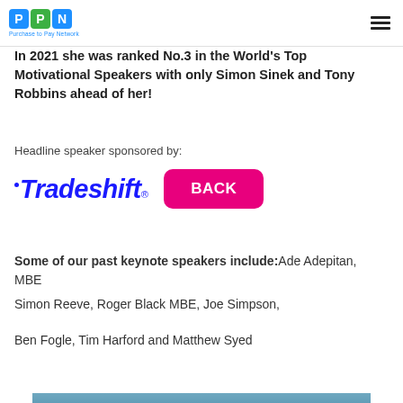PPN Purchase to Pay Network
In 2021 she was ranked No.3 in the World's Top Motivational Speakers with only Simon Sinek and Tony Robbins ahead of her!
Headline speaker sponsored by:
[Figure (logo): Tradeshift logo in blue bold text with dot and registered trademark symbol, alongside a pink/magenta rounded rectangle BACK button]
Some of our past keynote speakers include: Ade Adepitan, MBE
Simon Reeve, Roger Black MBE, Joe Simpson,
Ben Fogle, Tim Harford and Matthew Syed
[Figure (photo): Ocean/sea water photo at bottom of page]